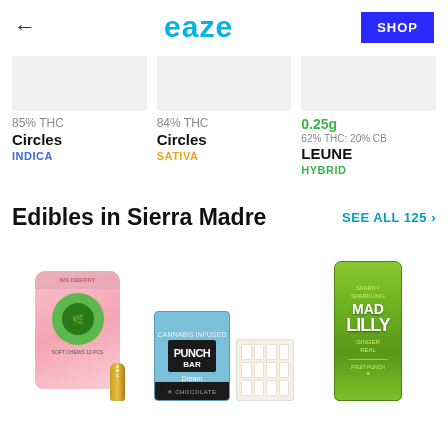eaze
85% THC
Circles
INDICA
84% THC
Circles
SATIVA
0.25g
62% THC: 20% CB
LEUNE
HYBRID
Edibles in Sierra Madre
SEE ALL 125 ›
[Figure (photo): Pink bag of cannabis edibles with green circle logo and small yellow tube product]
[Figure (photo): Punch Bar chocolate edible box in blue packaging next to a white segmented chocolate bar]
[Figure (photo): Mad Lilly green cannabis-infused beverage can]